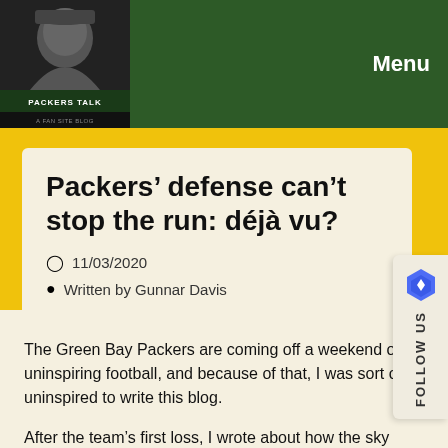PACKERS TALK | Menu
Packers’ defense can’t stop the run: déjà vu?
11/03/2020
Written by Gunnar Davis
The Green Bay Packers are coming off a weekend of uninspiring football, and because of that, I was sort of uninspired to write this blog.
After the team’s first loss, I wrote about how the sky wasn’t falling. I was confident that the Packers would rebound and learn from that loss. While I’m still confident the